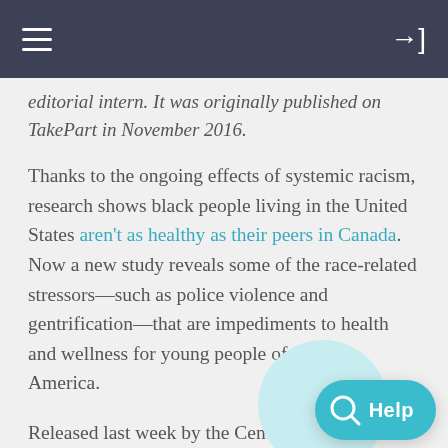editorial intern. It was originally published on TakePart in November 2016.
Thanks to the ongoing effects of systemic racism, research shows black people living in the United States aren't as healthy as their peers in Canada. Now a new study reveals some of the race-related stressors—such as police violence and gentrification—that are impediments to health and wellness for young people of color in America.
Released last week by the Center fo